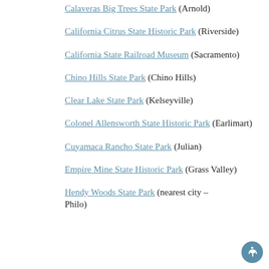Calaveras Big Trees State Park (Arnold)
California Citrus State Historic Park (Riverside)
California State Railroad Museum (Sacramento)
Chino Hills State Park (Chino Hills)
Clear Lake State Park (Kelseyville)
Colonel Allensworth State Historic Park (Earlimart)
Cuyamaca Rancho State Park (Julian)
Empire Mine State Historic Park (Grass Valley)
Hendy Woods State Park (nearest city – Philo)